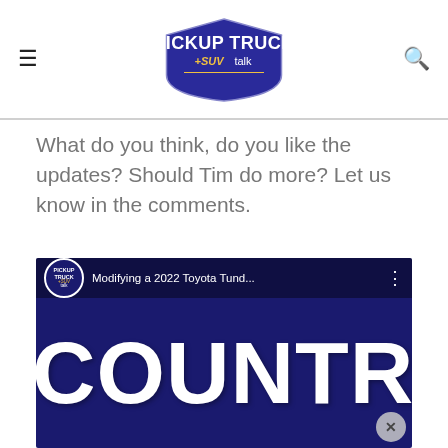Pickup Truck + SUV Talk — site header with hamburger menu and search icon
What do you think, do you like the updates? Should Tim do more? Let us know in the comments.
[Figure (screenshot): YouTube video thumbnail showing 'Modifying a 2022 Toyota Tund...' with Pickup Truck +SUV talk logo circle and large white text reading 'COUNTRY UP' on dark blue background]